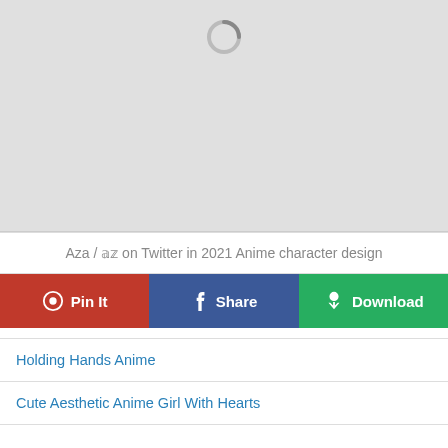[Figure (illustration): Large gray placeholder image with a loading spinner icon at the top center]
Aza / 𝕒𝕫 on Twitter in 2021 Anime character design
Pin It | Share | Download
Holding Hands Anime
Cute Aesthetic Anime Girl With Hearts